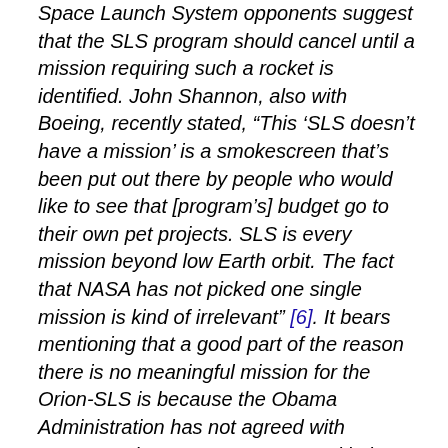Space Launch System opponents suggest that the SLS program should cancel until a mission requiring such a rocket is identified. John Shannon, also with Boeing, recently stated, “This ‘SLS doesn’t have a mission’ is a smokescreen that’s been put out there by people who would like to see that [program’s] budget go to their own pet projects. SLS is every mission beyond low Earth orbit. The fact that NASA has not picked one single mission is kind of irrelevant” [6]. It bears mentioning that a good part of the reason there is no meaningful mission for the Orion-SLS is because the Obama Administration has not agreed with Congress that, as Congress noted in its 2010 NASA Authorization Act, cislunar space is the next step in our efforts beyond Earth and that the SLS is an integral part of that step.
Moreover, both short- and long-term missions for SLS